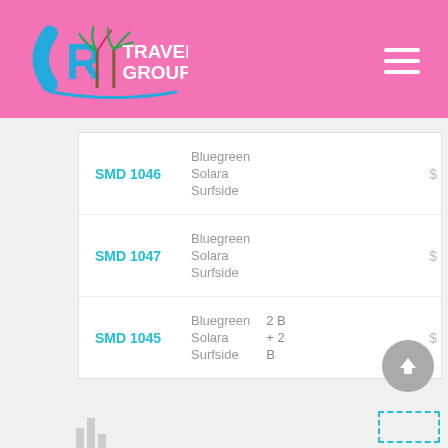[Figure (logo): CR Travel Group logo with palm trees on pink header background]
| Code | Resort | Details | Price |
| --- | --- | --- | --- |
| SMD1046 | Bluegreen |  | $ |
| SMD1046 | Solara |  | $ |
| SMD1046 | Surfside |  |  |
| SMD1047 | Bluegreen |  | $ |
| SMD1047 | Solara |  | $ |
| SMD1047 | Surfside |  |  |
| SMD1045 | Bluegreen | 2 B | $ |
| SMD1045 | Solara | + 2 | $ |
| SMD1045 | Surfside | B |  |